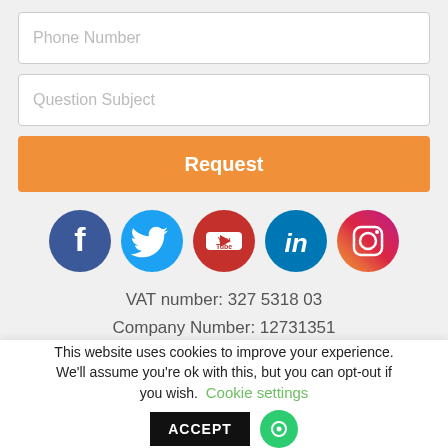Phone Number
Question Subject
Request
[Figure (infographic): Row of 5 social media icons: Facebook (dark blue circle with f), Twitter (light blue circle with bird), YouTube (red circle with YouTube logo), LinkedIn (teal circle with in), Instagram (gradient purple/pink/orange circle with camera icon)]
VAT number: 327 5318 03
Company Number: 12731351
This website uses cookies to improve your experience. We'll assume you're ok with this, but you can opt-out if you wish. Cookie settings ACCEPT